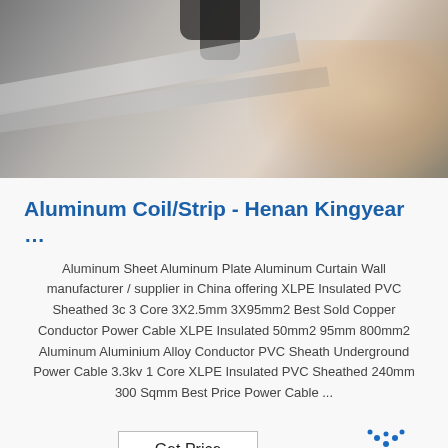[Figure (photo): Close-up photo of a hand holding aluminum coil/strip material, showing metallic silver-gray material being handled.]
Aluminum Coil/Strip - Henan Kingyear …
Aluminum Sheet Aluminum Plate Aluminum Curtain Wall manufacturer / supplier in China offering XLPE Insulated PVC Sheathed 3c 3 Core 3X2.5mm 3X95mm2 Best Sold Copper Conductor Power Cable XLPE Insulated 50mm2 95mm 800mm2 Aluminum Aluminium Alloy Conductor PVC Sheath Underground Power Cable 3.3kv 1 Core XLPE Insulated PVC Sheathed 240mm 300 Sqmm Best Price Power Cable ...
[Figure (logo): TOP badge logo with dotted arc above the word TOP in blue text]
[Figure (photo): Partial photo at the bottom of the page showing industrial or material content in grayscale.]